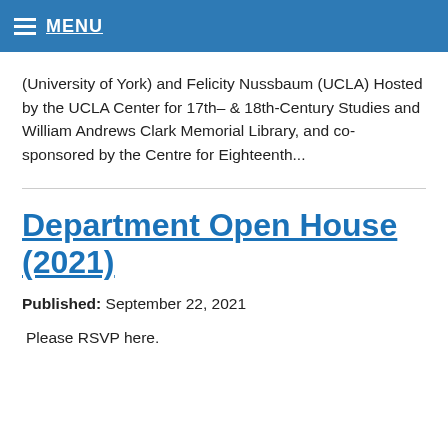MENU
(University of York) and Felicity Nussbaum (UCLA) Hosted by the UCLA Center for 17th– & 18th-Century Studies and William Andrews Clark Memorial Library, and co-sponsored by the Centre for Eighteenth...
Department Open House (2021)
Published: September 22, 2021
Please RSVP here.